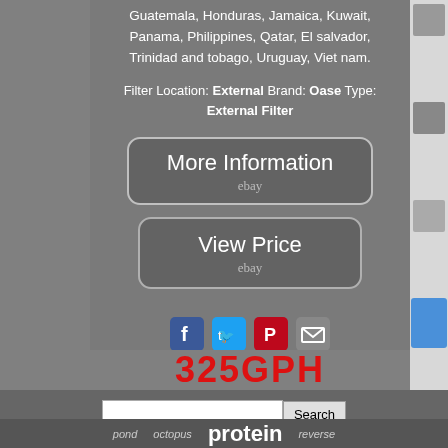Guatemala, Honduras, Jamaica, Kuwait, Panama, Philippines, Qatar, El salvador, Trinidad and tobago, Uruguay, Viet nam.
Filter Location: External Brand: Oase Type: External Filter
[Figure (screenshot): More Information button with eBay logo]
[Figure (screenshot): View Price button with eBay logo]
[Figure (infographic): Social sharing icons: Facebook, Twitter, Pinterest, Email]
325GPH
[Figure (screenshot): Search bar with search button]
pond   octopus   protein   reverse